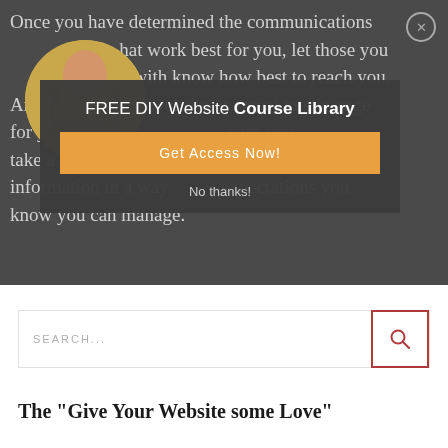Once you have determined the communications that work best for you, let those you are working with know how best to reach you. And if you have a website or social media page for your organization/business, make sure you take a little time to put together the contact information in a way that sets expectations you know you can manage.
[Figure (photo): Circular photo of a person working on a laptop with coffee cups on a desk]
FREE DIY Website Course Library
Get Access Now!
No thanks!
SEARCH...
The "Give Your Website some Love"